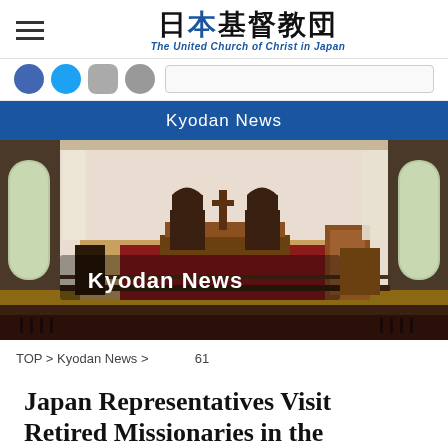日本基督教団 The United Church of Christ in Japan
Kyodan News
[Figure (photo): Interior of a historic Japanese church sanctuary showing wooden pews, an elevated chancel with gothic-style chairs, red carpet, tall arched windows with curtains, and wooden paneling. Overlaid text reads 'Kyodan News　　　']
TOP > Kyodan News > 　　　 61
Japan Representatives Visit Retired Missionaries in the